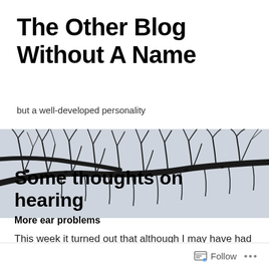The Other Blog Without A Name
but a well-developed personality
[Figure (photo): Black and white photograph of bare tree branches silhouetted against a light grey-blue sky, spanning the full width of the page as a header image.]
Some thoughts on hearing
More ear problems
This week it turned out that although I may have had catarrh, my ear is definitely blocked on the outside too. So
Follow ...